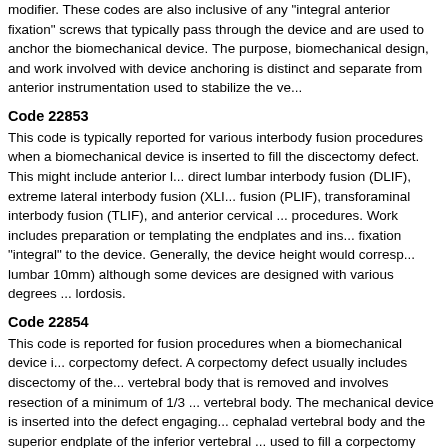modifier. These codes are also inclusive of any "integral anterior fixation" screws that typically pass through the device and are used to anchor the biomechanical device. The purpose, biomechanical design, and work involved with device anchoring is considered distinct and separate from anterior instrumentation used to stabilize the ve...
Code 22853
This code is typically reported for various interbody fusion procedures when a biomechanical device is inserted to fill the discectomy defect. This might include anterior lumbar interbody fusion, direct lumbar interbody fusion (DLIF), extreme lateral interbody fusion (XLIF), posterior lumbar interbody fusion (PLIF), transforaminal interbody fusion (TLIF), and anterior cervical discectomy and fusion procedures. Work includes preparation or templating the endplates and insertion, with fixation "integral" to the device. Generally, the device height would correspond to disc height (lumbar 10mm) although some devices are designed with various degrees of lordosis.
Code 22854
This code is reported for fusion procedures when a biomechanical device is inserted to fill a corpectomy defect. A corpectomy defect usually includes discectomy of the discs adjacent to the vertebral body that is removed and involves resection of a minimum of 1/3 of the vertebral body. The mechanical device is inserted into the defect engaging the inferior endplate of the cephalad vertebral body and the superior endplate of the inferior vertebral body. A device used to fill a corpectomy defect would likely measure >2cm in the cervical spine and >3cm in the lumbar spine.
Code 22859
This code is reported for the unique situation where a biomechanical device is inserted but spinal fusion is not being performed. The most common scenario is a spinal tumor requiring discectomy or corpectomy and placement of a biomechanical device into the defect created. This could be a temporary solution to allow for post op radiation therapy or planning for a definitive fusion procedure or it could be done for palliative treatment when... use of integral fixation to anchor the device to the vertebral body is inclusi...